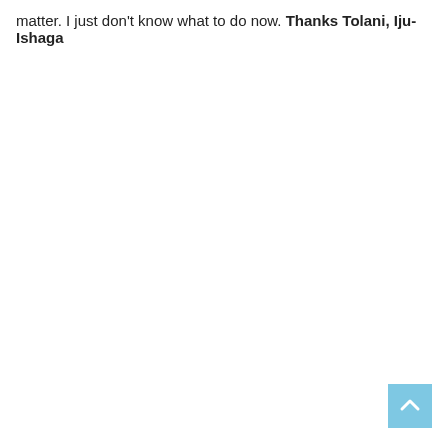matter. I just don't know what to do now. Thanks Tolani, Iju-Ishaga